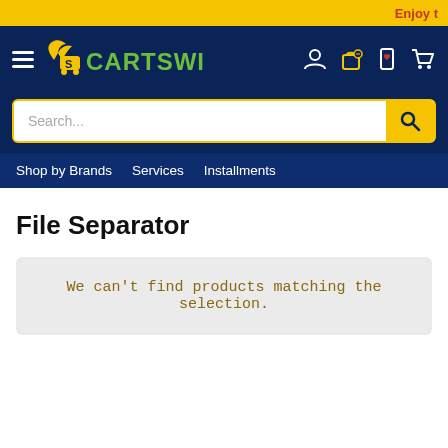Enjoy t
[Figure (logo): CartSwing logo with winged shopping cart icon and yellow-green text on navy background, with hamburger menu and header icons (user, bag, wishlist, cart)]
[Figure (screenshot): Search bar with placeholder text 'Search...' and a yellow search button with magnifying glass icon]
Shop by Brands   Services   Installments
File Separator
We can't find products matching the selection.